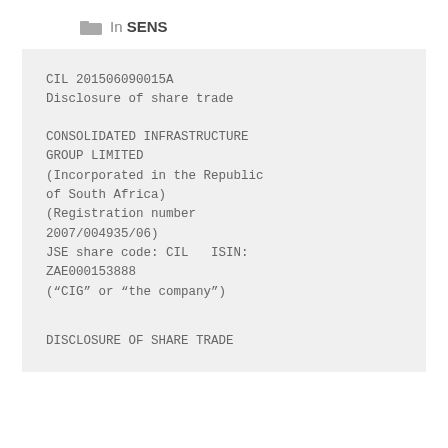In SENS
CIL 201506090015A
Disclosure of share trade

CONSOLIDATED INFRASTRUCTURE GROUP LIMITED
(Incorporated in the Republic of South Africa)
(Registration number 2007/004935/06)
JSE share code: CIL   ISIN: ZAE000153888
(“CIG” or “the company”)
DISCLOSURE OF SHARE TRADE